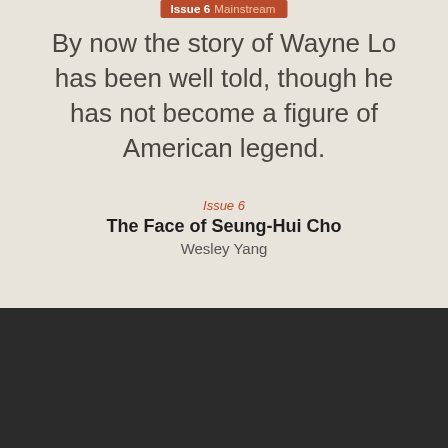Issue 6  Mainstream
By now the story of Wayne Lo has been well told, though he has not become a figure of American legend.
Issue 6
The Face of Seung-Hui Cho
Wesley Yang
n+1 is a print and digital magazine of literature, culture, and politics published three times a year. We also post new online-only work several times each week and publish books expanding on the interests of the magazine.